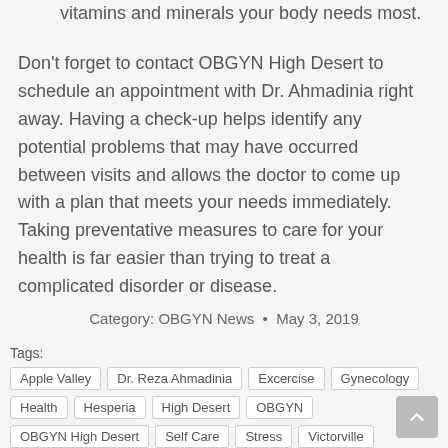vitamins and minerals your body needs most.
Don't forget to contact OBGYN High Desert to schedule an appointment with Dr. Ahmadinia right away. Having a check-up helps identify any potential problems that may have occurred between visits and allows the doctor to come up with a plan that meets your needs immediately. Taking preventative measures to care for your health is far easier than trying to treat a complicated disorder or disease.
Category: OBGYN News • May 3, 2019
Tags: Apple Valley | Dr. Reza Ahmadinia | Excercise | Gynecology | Health | Hesperia | High Desert | OBGYN | OBGYN High Desert | Self Care | Stress | Victorville